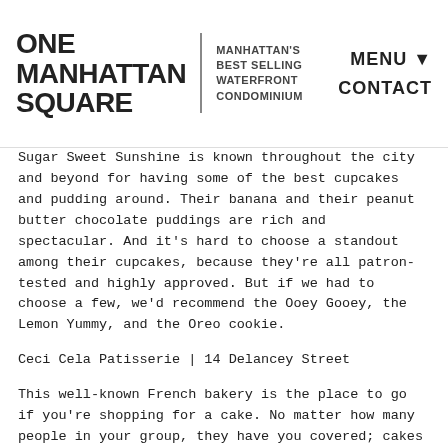ONE MANHATTAN SQUARE | MANHATTAN'S BEST SELLING WATERFRONT CONDOMINIUM | MENU ▼ CONTACT
Sugar Sweet Sunshine is known throughout the city and beyond for having some of the best cupcakes and pudding around. Their banana and their peanut butter chocolate puddings are rich and spectacular. And it's hard to choose a standout among their cupcakes, because they're all patron-tested and highly approved. But if we had to choose a few, we'd recommend the Ooey Gooey, the Lemon Yummy, and the Oreo cookie.
Ceci Cela Patisserie | 14 Delancey Street
This well-known French bakery is the place to go if you're shopping for a cake. No matter how many people in your group, they have you covered; cakes come in one-person, six-person, eight-person, and 12-person sizes. So, even if you're flying solo, and are simply in the mood for some cake, stop in at Ceci Cela. It's also worth noting that their croissants are amazing, and their Pear